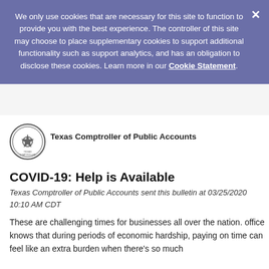We only use cookies that are necessary for this site to function to provide you with the best experience. The controller of this site may choose to place supplementary cookies to support additional functionality such as support analytics, and has an obligation to disclose these cookies. Learn more in our Cookie Statement.
[Figure (logo): Texas Comptroller of Public Accounts circular seal/logo in grayscale]
Texas Comptroller of Public Accounts
COVID-19: Help is Available
Texas Comptroller of Public Accounts sent this bulletin at 03/25/2020 10:10 AM CDT
These are challenging times for businesses all over the nation. office knows that during periods of economic hardship, paying on time can feel like an extra burden when there's so much...